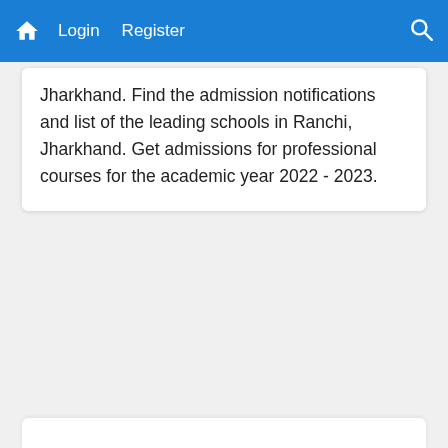Login   Register
Jharkhand. Find the admission notifications and list of the leading schools in Ranchi, Jharkhand. Get admissions for professional courses for the academic year 2022 - 2023.